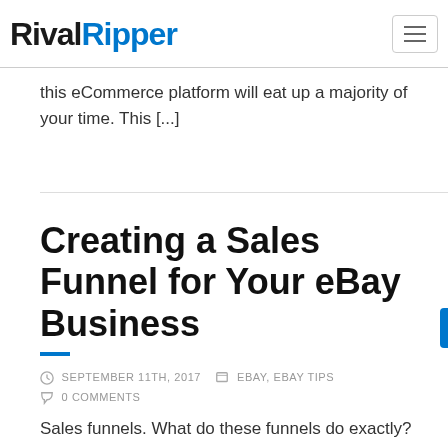RivalRipper
this eCommerce platform will eat up a majority of your time. This [...]
Creating a Sales Funnel for Your eBay Business
SEPTEMBER 11TH, 2017  EBAY, EBAY TIPS  0 COMMENTS
Sales funnels. What do these funnels do exactly? Today, we teach you what they are and how to make